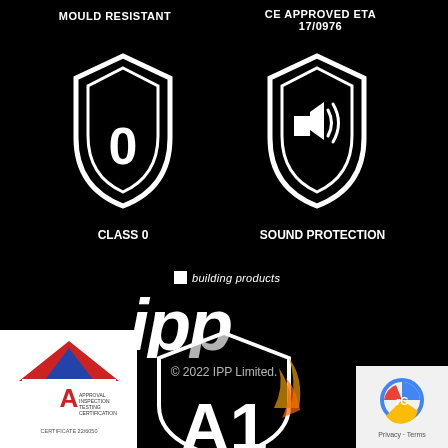MOULD RESISTANT
CE APPROVED ETA 17/0976
[Figure (illustration): White shield icon with '0' inside, representing Class 0 fire rating]
[Figure (illustration): White shield icon with speaker/sound icon inside, representing Sound Protection]
CLASS 0
SOUND PROTECTION
[Figure (logo): IPP Building Products logo - white italic 'ipp' text with small white square and 'building products' text above]
© 2022 IPP Limited.
[Figure (logo): AITA Approval Inspection Testing Certification badge with red/blue house logo, Certificate 22/6050]
[Figure (illustration): Partial A1 fire rating shield with flames, bottom center of page]
[Figure (logo): Privacy terms badge, bottom right corner]